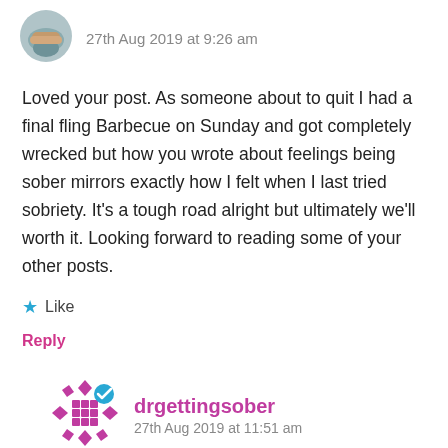[Figure (photo): Small circular avatar photo showing hands]
27th Aug 2019 at 9:26 am
Loved your post. As someone about to quit I had a final fling Barbecue on Sunday and got completely wrecked but how you wrote about feelings being sober mirrors exactly how I felt when I last tried sobriety. It's a tough road alright but ultimately we'll worth it. Looking forward to reading some of your other posts.
★ Like
Reply
[Figure (logo): Purple diamond grid avatar icon with checkmark for drgettingsober]
drgettingsober
27th Aug 2019 at 11:51 am
Thanks Jim! Good luck this time – it's not an easy